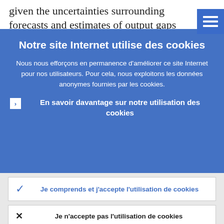given the uncertainties surrounding forecasts and estimates of output gaps an
[Figure (screenshot): Menu button (hamburger icon) in blue square, top right corner]
Notre site Internet utilise des cookies
Nous nous efforçons en permanence d'améliorer ce site Internet pour nos utilisateurs. Pour cela, nous exploitons les données anonymes fournies par les cookies.
En savoir davantage sur notre utilisation des cookies
Je comprends et j'accepte l'utilisation de cookies
Je n'accepte pas l'utilisation de cookies